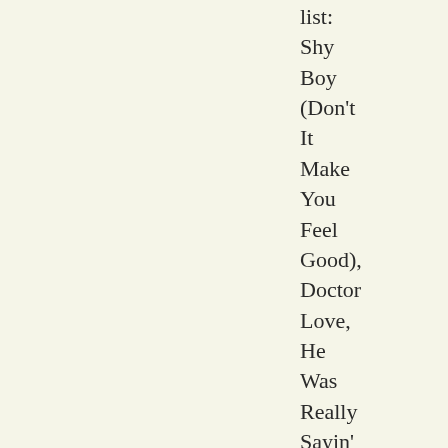list: Shy Boy (Don't It Make You Feel Good), Doctor Love, He Was Really Sayin' Somethin', What A Shambles, Cheers Then, Hey Young London, Young